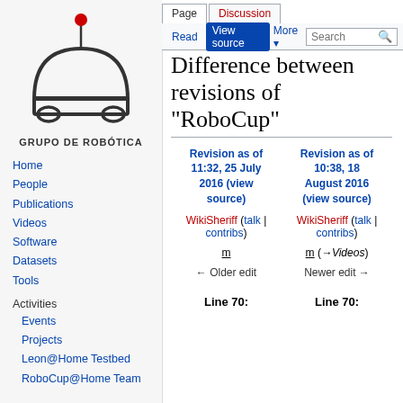[Figure (logo): Grupo de Robótica robot logo — semicircle body with antenna and wheels, red dot on top]
GRUPO DE ROBÓTICA
Home
People
Publications
Videos
Software
Datasets
Tools
Activities
Events
Projects
Leon@Home Testbed
RoboCup@Home Team
Log in
Difference between revisions of "RoboCup"
| Revision as of 11:32, 25 July 2016 (view source) | Revision as of 10:38, 18 August 2016 (view source) |
| --- | --- |
| WikiSheriff (talk | contribs) | WikiSheriff (talk | contribs) |
| m | m (→Videos) |
| ← Older edit | Newer edit → |
Line 70:
Line 70: